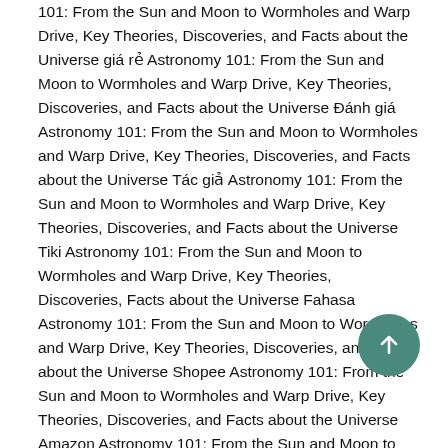101: From the Sun and Moon to Wormholes and Warp Drive, Key Theories, Discoveries, and Facts about the Universe giá rẻ Astronomy 101: From the Sun and Moon to Wormholes and Warp Drive, Key Theories, Discoveries, and Facts about the Universe Đánh giá Astronomy 101: From the Sun and Moon to Wormholes and Warp Drive, Key Theories, Discoveries, and Facts about the Universe Tác giả Astronomy 101: From the Sun and Moon to Wormholes and Warp Drive, Key Theories, Discoveries, and Facts about the Universe Tiki Astronomy 101: From the Sun and Moon to Wormholes and Warp Drive, Key Theories, Discoveries, Facts about the Universe Fahasa Astronomy 101: From the Sun and Moon to Wormholes and Warp Drive, Key Theories, Discoveries, and Facts about the Universe Shopee Astronomy 101: From the Sun and Moon to Wormholes and Warp Drive, Key Theories, Discoveries, and Facts about the Universe Amazon Astronomy 101: From the Sun and Moon to Wormholes and Warp Drive, Key Theories, Discoveries, and Facts about the Universe Download PDF Astronomy 101: From the Sun and Moon to Wormholes and Warp Drive, Key Theories, Discoveries, and Facts about the Universe
[Figure (other): Teal/green circular scroll-to-top button with white upward arrow icon]